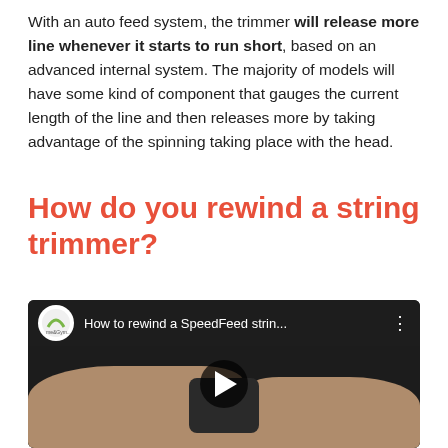With an auto feed system, the trimmer will release more line whenever it starts to run short, based on an advanced internal system. The majority of models will have some kind of component that gauges the current length of the line and then releases more by taking advantage of the spinning taking place with the head.
How do you rewind a string trimmer?
[Figure (screenshot): YouTube video thumbnail showing hands rewinding a SpeedFeed string trimmer head. Video title reads 'How to rewind a SpeedFeed strin...' with channel logo visible. Play button overlay in center.]